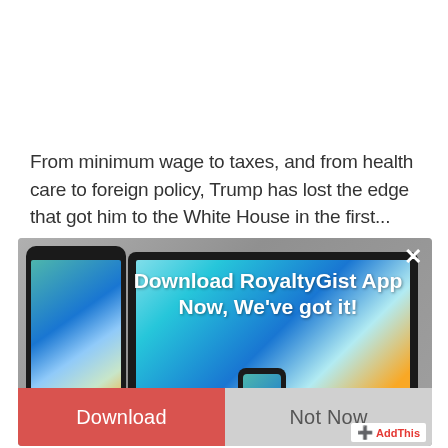From minimum wage to taxes, and from health care to foreign policy, Trump has lost the edge that got him to the White House in the first...
[Figure (screenshot): A modal/popup overlay showing Android devices (smartphone, tablet, smartwatch) with a prompt to download the RoyaltyGist app. Contains a red 'Download' button and a grey 'Not Now' button. Has a close (×) button in the top right and an AddThis badge in the bottom right.]